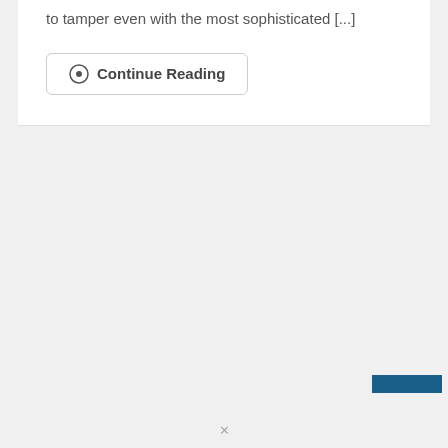to tamper even with the most sophisticated [...]
Continue Reading